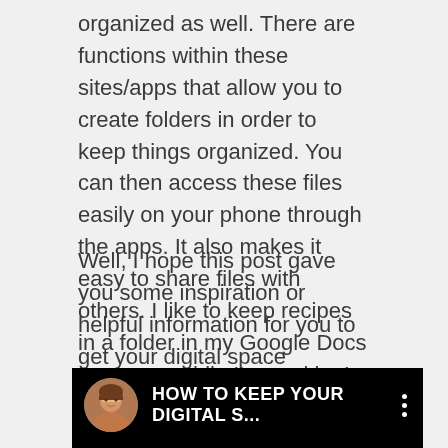organized as well. There are functions within these sites/apps that allow you to create folders in order to keep things organized. You can then access these files easily on your phone through the apps. It also makes it easy to share files with others. I like to keep recipes in a folder in my Google Docs to access while I'm cooking!
Well, I hope this post gave you some inspiration or helpful information for you to get your digital space decluttered and organized today!
[Figure (screenshot): A video thumbnail showing a YouTube-style video player interface with a circular avatar photo of a woman with brown hair on a black background, the title text 'HOW TO KEEP YOUR DIGITAL S...' in white capital letters, and a three-dot menu icon on the right.]